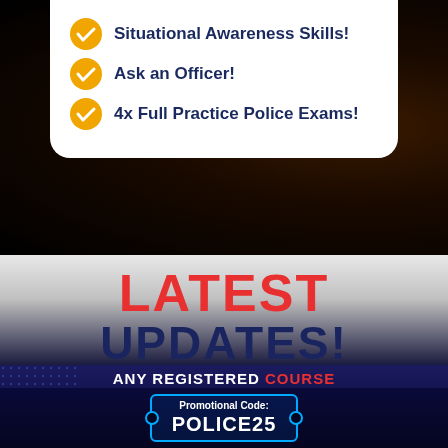Situational Awareness Skills!
Ask an Officer!
4x Full Practice Police Exams!
LATEST UPDATES!
ANY REGISTERED COURSE
25% off LIMITED TIME PROMOTION THROUGH AUGUST 17-24
Promotional Code: POLICE25